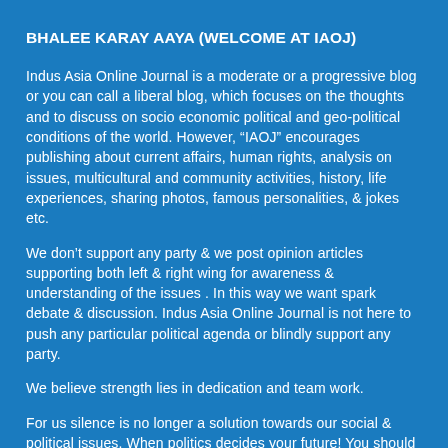BHALEE KARAY AAYA (WELCOME AT IAOJ)
Indus Asia Online Journal is a moderate or a progressive blog or you can call a liberal blog, which focuses on the thoughts and to discuss on socio economic political and geo-political conditions of the world. However, “IAOJ” encourages publishing about current affairs, human rights, analysis on issues, multicultural and community activities, history, life experiences, sharing photos, famous personalities, & jokes etc.
We don’t support any party & we post opinion articles supporting both left & right wing for awareness & understanding of the issues . In this way we want spark debate & discussion. Indus Asia Online Journal is not here to push any particular political agenda or blindly support any party.
We believe strength lies in dedication and team work.
For us silence is no longer a solution towards our social & political issues. When politics decides your future! You should decide your politics!
“IAOJ” brings you briefs on geo-politics from around the world. We gather information and insights from multiple sources and presents